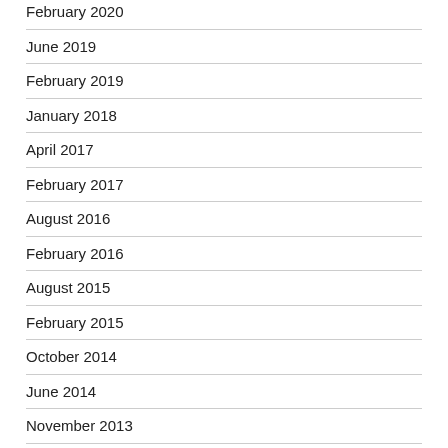February 2020
June 2019
February 2019
January 2018
April 2017
February 2017
August 2016
February 2016
August 2015
February 2015
October 2014
June 2014
November 2013
February 2013